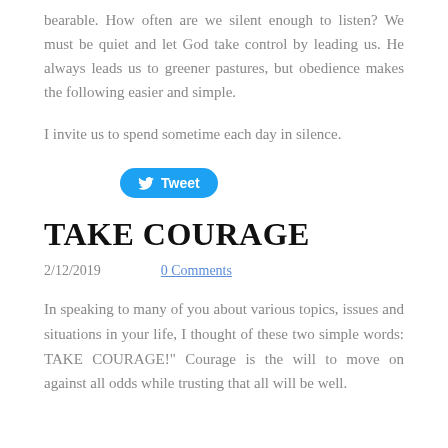bearable. How often are we silent enough to listen? We must be quiet and let God take control by leading us. He always leads us to greener pastures, but obedience makes the following easier and simple.
I invite us to spend sometime each day in silence.
[Figure (other): Twitter Tweet button (blue rounded button with bird icon and 'Tweet' text)]
TAKE COURAGE
2/12/2019    0 Comments
In speaking to many of you about various topics, issues and situations in your life, I thought of these two simple words: TAKE COURAGE!" Courage is the will to move on against all odds while trusting that all will be well.